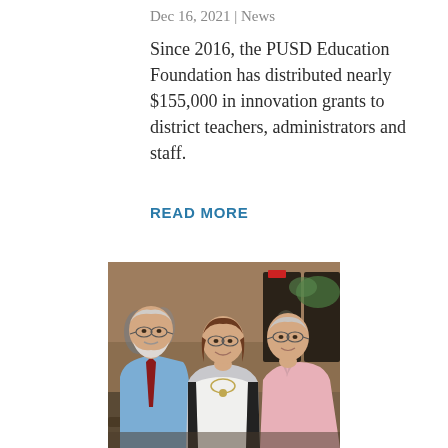Dec 16, 2021 | News
Since 2016, the PUSD Education Foundation has distributed nearly $155,000 in innovation grants to district teachers, administrators and staff.
READ MORE
[Figure (photo): Three people posing together at an indoor event venue with wood-paneled walls. On the left is an older man with a white beard wearing a blue dress shirt and dark red tie. In the center is a woman with glasses wearing a white top with a patterned cardigan and a necklace. On the right is an older man wearing a pink button-down shirt and glasses.]